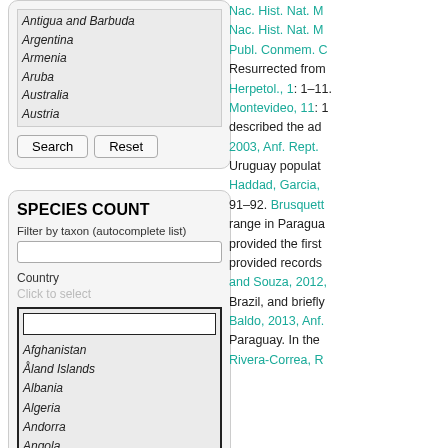Antigua and Barbuda
Argentina
Armenia
Aruba
Australia
Austria
Search | Reset
SPECIES COUNT
Filter by taxon (autocomplete list)
Country
Click to select
Afghanistan
Åland Islands
Albania
Algeria
Andorra
Angola
Anguilla
Nac. Hist. Nat. M Publ. Conmem. C Resurrected from Herpetol., 1: 1–11. Montevideo, 11: 1 described the ad 2003, Anf. Rept. Uruguay populat Haddad, Garcia, 91–92. Brusquett range in Paragua provided the first provided records and Souza, 2012, Brazil, and briefly Baldo, 2013, Anf. Paraguay. In the Rivera-Correa, R